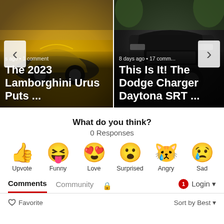[Figure (screenshot): Carousel showing two article cards: 'The 2023 Lamborghini Urus Puts ...' and 'This Is It! The Dodge Charger Daytona SRT ...' with navigation arrows]
What do you think?
0 Responses
[Figure (infographic): Row of 6 reaction emojis: Upvote (thumbs up), Funny (laughing face), Love (heart eyes), Surprised (wow face), Angry (crying face), Sad (sad face with tear)]
Comments   Community   🔒   1   Login ▾
♡ Favorite   Sort by Best ▾